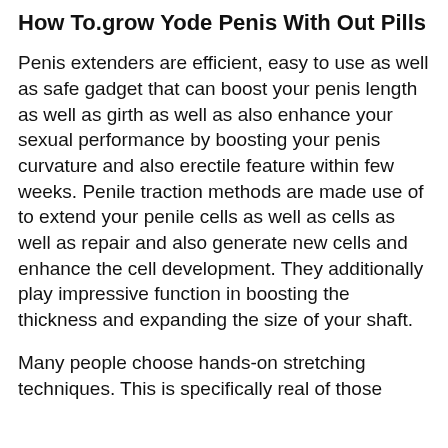How To.grow Yode Penis With Out Pills
Penis extenders are efficient, easy to use as well as safe gadget that can boost your penis length as well as girth as well as also enhance your sexual performance by boosting your penis curvature and also erectile feature within few weeks. Penile traction methods are made use of to extend your penile cells as well as cells as well as repair and also generate new cells and enhance the cell development. They additionally play impressive function in boosting the thickness and expanding the size of your shaft.
Many people choose hands-on stretching techniques. This is specifically real of those